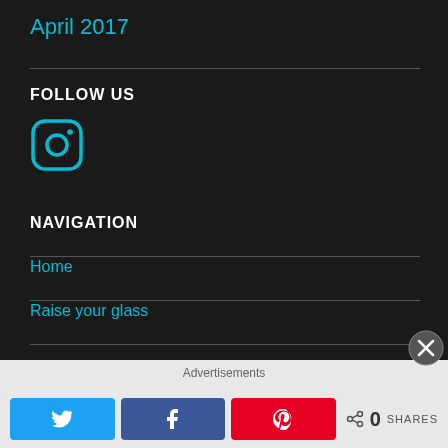April 2017
FOLLOW US
[Figure (logo): Instagram icon in cyan/teal outline style on dark background]
NAVIGATION
Home
Raise your glass
Advertisements
0 SHARES